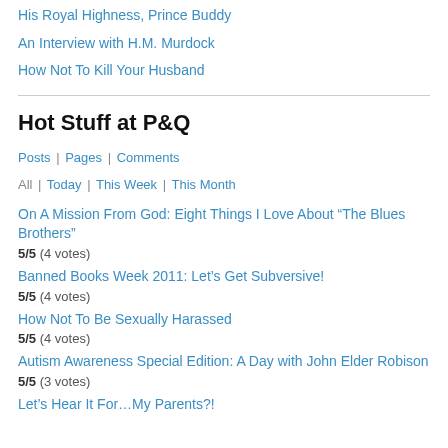His Royal Highness, Prince Buddy
An Interview with H.M. Murdock
How Not To Kill Your Husband
Hot Stuff at P&Q
Posts | Pages | Comments
All | Today | This Week | This Month
On A Mission From God: Eight Things I Love About “The Blues Brothers”
5/5 (4 votes)
Banned Books Week 2011: Let’s Get Subversive!
5/5 (4 votes)
How Not To Be Sexually Harassed
5/5 (4 votes)
Autism Awareness Special Edition: A Day with John Elder Robison
5/5 (3 votes)
Let’s Hear It For…My Parents?!